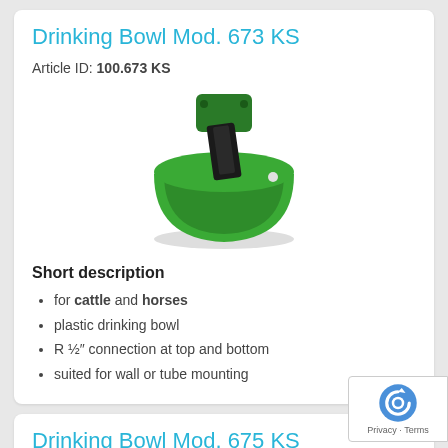Drinking Bowl Mod. 673 KS
Article ID: 100.673 KS
[Figure (photo): Green plastic drinking bowl for cattle and horses, Model 673 KS, with a black lever mechanism inside, viewed from the front-top angle.]
Short description
for cattle and horses
plastic drinking bowl
R ½″ connection at top and bottom
suited for wall or tube mounting
Drinking Bowl Mod. 675 KS
Article ID: 100.675 KS